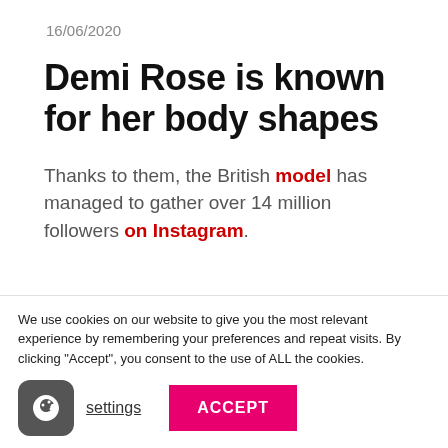16/06/2020
Demi Rose is known for her body shapes
Thanks to them, the British model has managed to gather over 14 million followers on Instagram.
We use cookies on our website to give you the most relevant experience by remembering your preferences and repeat visits. By clicking “Accept”, you consent to the use of ALL the cookies.